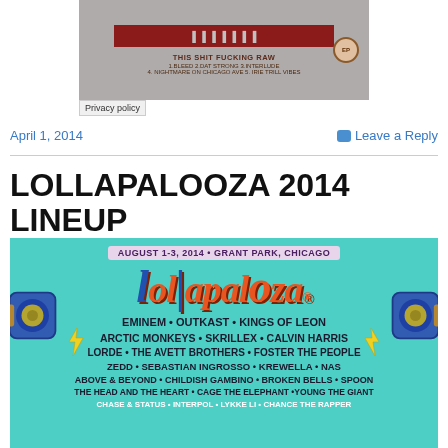[Figure (illustration): Album cover ad for 'THIS SHIT FUCKING RAW' EP with track listing on grey background]
Privacy policy
April 1, 2014
Leave a Reply
LOLLAPALOOZA 2014 LINEUP
[Figure (illustration): Lollapalooza 2014 festival lineup poster on teal background. August 1-3, 2014 • Grant Park, Chicago. Headliners: Eminem, Outkast, Kings of Leon, Arctic Monkeys, Skrillex, Calvin Harris, Lorde, The Avett Brothers, Foster The People, Zedd, Sebastian Ingrosso, Krewella, Nas, Above & Beyond, Childish Gambino, Broken Bells, Spoon, The Head And The Heart, Cage The Elephant, Young The Giant, Chase & Status, Interpol, Lykke Li, Chance The Rapper]